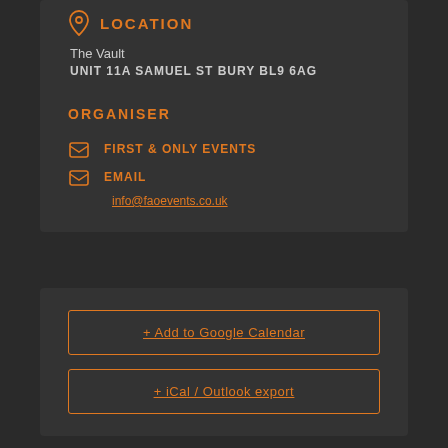LOCATION
The Vault
UNIT 11A SAMUEL ST BURY BL9 6AG
ORGANISER
FIRST & ONLY EVENTS
EMAIL
info@faoevents.co.uk
+ Add to Google Calendar
+ iCal / Outlook export